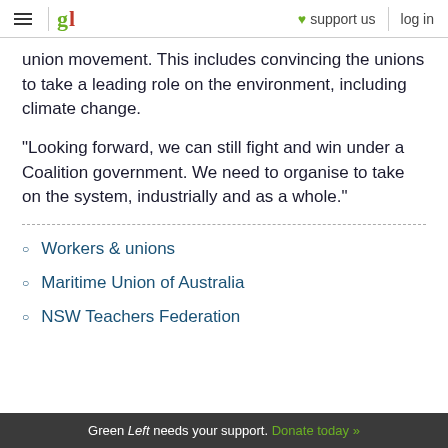gl | support us | log in
union movement. This includes convincing the unions to take a leading role on the environment, including climate change.
"Looking forward, we can still fight and win under a Coalition government. We need to organise to take on the system, industrially and as a whole."
Workers & unions
Maritime Union of Australia
NSW Teachers Federation
Green Left needs your support. Donate today »